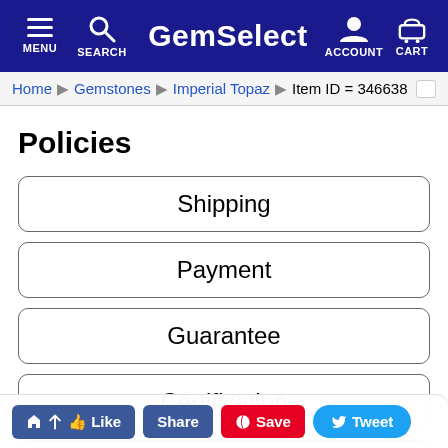GemSelect — MENU SEARCH ACCOUNT CART
Home > Gemstones > Imperial Topaz > Item ID = 346638
Policies
Shipping
Payment
Guarantee
Certification
Ret...
Like  Share  Save  Tweet